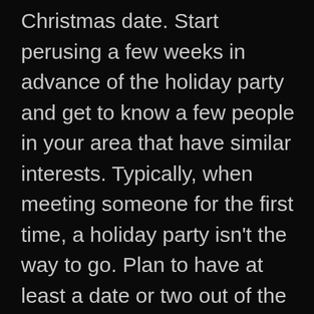Christmas date. Start perusing a few weeks in advance of the holiday party and get to know a few people in your area that have similar interests. Typically, when meeting someone for the first time, a holiday party isn't the way to go. Plan to have at least a date or two out of the way before you ask them to a company holiday party. This will allow for a casual, fun evening without having to worry about the typical first-date jitters.